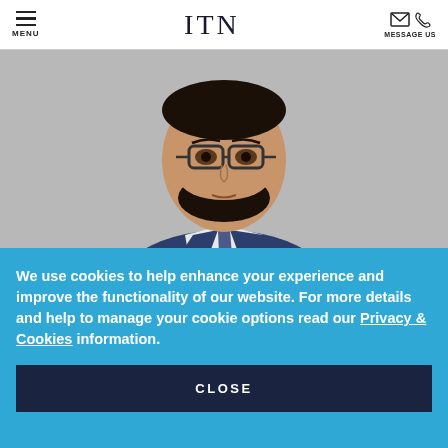MENU | ITN | MESSAGE US
[Figure (photo): Professional headshot of a man wearing glasses, a navy blue suit and tie, with a beard, against a grey background]
We use cookies to help enhance your experience and improve the functionality of our website. For more details and help to manage your cookie options read our Privacy & Cookies information.
CLOSE